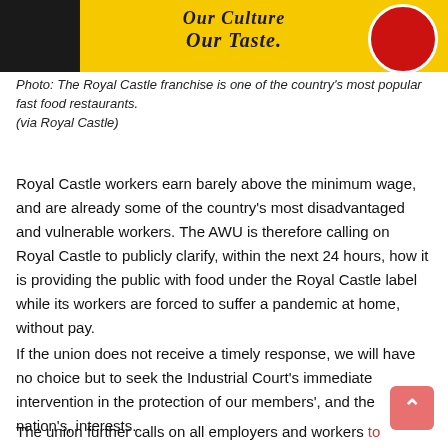[Figure (photo): Royal Castle franchise banner image with yellow background, dark section on left showing partial photo of people, cursive text reading 'Our Culture Our Taste' in center, and red circular logo badge on right.]
Photo: The Royal Castle franchise is one of the country's most popular fast food restaurants.
(via Royal Castle)
Royal Castle workers earn barely above the minimum wage, and are already some of the country's most disadvantaged and vulnerable workers. The AWU is therefore calling on Royal Castle to publicly clarify, within the next 24 hours, how it is providing the public with food under the Royal Castle label while its workers are forced to suffer a pandemic at home, without pay.
If the union does not receive a timely response, we will have no choice but to seek the Industrial Court's immediate intervention in the protection of our members', and the nation's, interests.
The union further calls on all employers and workers to